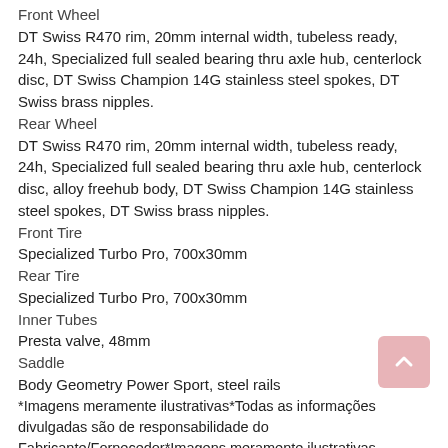Front Wheel
DT Swiss R470 rim, 20mm internal width, tubeless ready, 24h, Specialized full sealed bearing thru axle hub, centerlock disc, DT Swiss Champion 14G stainless steel spokes, DT Swiss brass nipples.
Rear Wheel
DT Swiss R470 rim, 20mm internal width, tubeless ready, 24h, Specialized full sealed bearing thru axle hub, centerlock disc, alloy freehub body, DT Swiss Champion 14G stainless steel spokes, DT Swiss brass nipples.
Front Tire
Specialized Turbo Pro, 700x30mm
Rear Tire
Specialized Turbo Pro, 700x30mm
Inner Tubes
Presta valve, 48mm
Saddle
Body Geometry Power Sport, steel rails
*Imagens meramente ilustrativas*Todas as informações divulgadas são de responsabilidade do Fabricante/Fornecedor*Imagens meramente ilustrativas
MARCA : SPECIALIZED